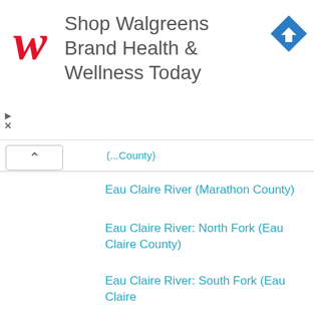[Figure (other): Walgreens advertisement banner with red W logo, text 'Shop Walgreens Brand Health & Wellness Today', and a blue diamond navigation icon]
Eau Claire River (Marathon County)
Eau Claire River: North Fork (Eau Claire County)
Eau Claire River: South Fork (Eau Claire County)
Eau Galle River
Embarrass River
Embarrass River: Middle Branch
Fisher River
Flambeau River: North Fork